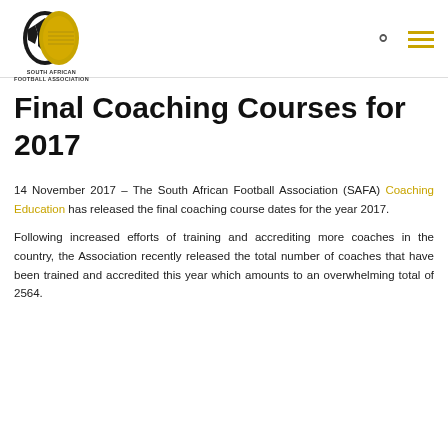South African Football Association
Final Coaching Courses for 2017
14 November 2017 – The South African Football Association (SAFA) Coaching Education has released the final coaching course dates for the year 2017.
Following increased efforts of training and accrediting more coaches in the country, the Association recently released the total number of coaches that have been trained and accredited this year which amounts to an overwhelming total of 2564.